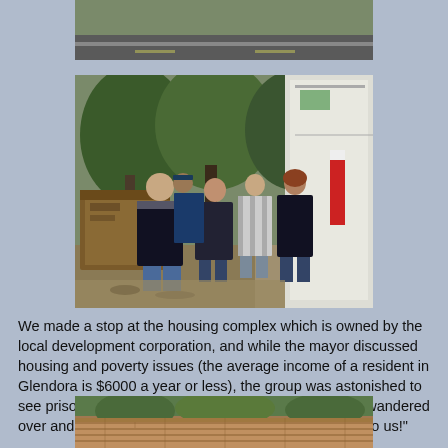[Figure (photo): Partial photo at top of page showing a road/driveway scene]
[Figure (photo): Photo of several people standing near a dumpster and a garbage truck, with trees in background. Prison laborers on county garbage pickup.]
We made a stop at the housing complex which is owned by the local development corporation, and while the mayor discussed housing and poverty issues (the average income of a resident in Glendora is $6000 a year or less), the group was astonished to see prison labor on the county garbage pick up. Cheri wandered over and in a few minutes yelled out "they want to talk to us!"
[Figure (photo): Partial photo at bottom of page showing a brick building exterior with trees]